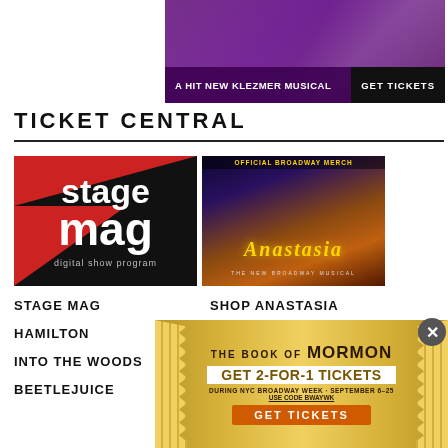[Figure (photo): Banner ad for a Klezmer musical with purple theatrical background, text 'A HIT NEW KLEZMER MUSICAL' and 'GET TICKETS' button]
TICKET CENTRAL
[Figure (logo): Stage Mag logo - digital show program, red and black design]
[Figure (photo): Anastasia - The New Broadway Musical official merchandise image with gold and purple backdrop]
STAGE MAG
SHOP ANASTASIA
HAMILTON
THE MUSIC MAN
INTO THE WOODS
HADESTOWN
BEETLEJUICE
MJ, THE MUSICAL
[Figure (photo): The Book of Mormon Broadway ad - GET 2-FOR-1 TICKETS during NYC Broadway Week September 6-25, Use Code BWAYWK, GET TICKETS]